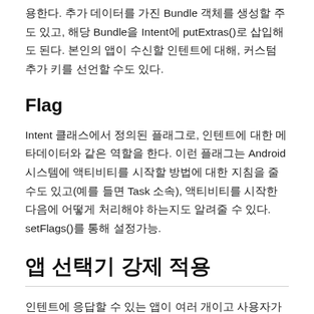용한다. 추가 데이터를 가진 Bundle 객체를 생성할 수도 있고, 해당 Bundle을 Intent에 putExtras()로 삽입해도 된다. 본인의 앱이 수신할 인텐트에 대해, 커스텀 추가 키를 선언할 수도 있다.
Flag
Intent 클래스에서 정의된 플래그로, 인텐트에 대한 메타데이터와 같은 역할을 한다. 이런 플래그는 Android 시스템에 액티비티를 시작할 방법에 대한 지침을 줄 수도 있고(예를 들면 Task 소속), 액티비티를 시작한 다음에 어떻게 처리해야 하는지도 알려줄 수 있다. setFlags()를 통해 설정가능.
앱 선택기 강제 적용
인텐트에 응답할 수 있는 앱이 여러 개이고 사용자가 매번 다